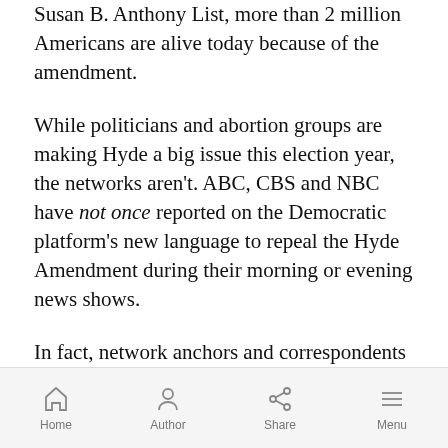Susan B. Anthony List, more than 2 million Americans are alive today because of the amendment.
While politicians and abortion groups are making Hyde a big issue this election year, the networks aren't. ABC, CBS and NBC have not once reported on the Democratic platform's new language to repeal the Hyde Amendment during their morning or evening news shows.
In fact, network anchors and correspondents haven't said the words "Hyde Amendment" in the past five years. The only reference to the amendment since Sept. 2011 came from ABC's Good Morning America on Aug. 1, 2016 when the correspondent replayed clips of politicians saying "Hyde Amendment" rather than
Home  Author  Share  Menu